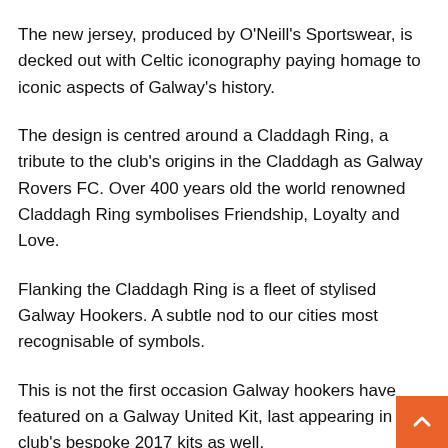The new jersey, produced by O'Neill's Sportswear, is decked out with Celtic iconography paying homage to iconic aspects of Galway's history.
The design is centred around a Claddagh Ring, a tribute to the club's origins in the Claddagh as Galway Rovers FC. Over 400 years old the world renowned Claddagh Ring symbolises Friendship, Loyalty and Love.
Flanking the Claddagh Ring is a fleet of stylised Galway Hookers. A subtle nod to our cities most recognisable of symbols.
This is not the first occasion Galway hookers have featured on a Galway United Kit, last appearing in the club's bespoke 2017 kits as well.